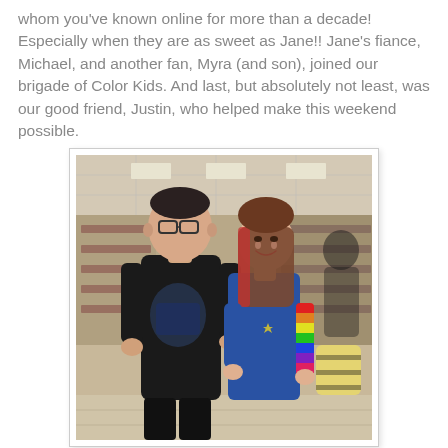whom you've known online for more than a decade! Especially when they are as sweet as Jane!! Jane's fiance, Michael, and another fan, Myra (and son), joined our brigade of Color Kids. And last, but absolutely not least, was our good friend, Justin, who helped make this weekend possible.
[Figure (photo): Two people posing together indoors in what appears to be a retail store. On the left, a tall man wearing glasses and a black t-shirt with a graphic design. On the right, a woman in a blue dress with rainbow-striped arm warmers and colorful hair highlights, smiling at the camera.]